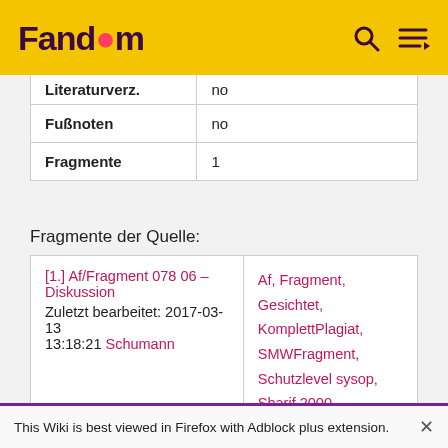Fandom
|  |  |
| --- | --- |
| Literaturverz. | no |
| Fußnoten | no |
| Fragmente | 1 |
Fragmente der Quelle:
|  |  |
| --- | --- |
| [1.] Af/Fragment 078 06 - Diskussion
Zuletzt bearbeitet: 2017-03-13 13:18:21 Schumann | Af, Fragment, Gesichtet, KomplettPlagiat, SMWFragment, Schutzlevel sysop, Sharif 2000 |
This Wiki is best viewed in Firefox with Adblock plus extension.